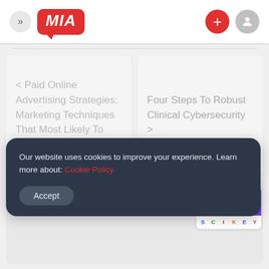» MIA + [user icon]
‹ Paid Online Advertising Strategies: Marketing Techniques That Most Likely To Pay You
Four Steps To Robust Clinical Cybersecurity ›
Our website uses cookies to improve your experience. Learn more about: Cookie Policy
Accept